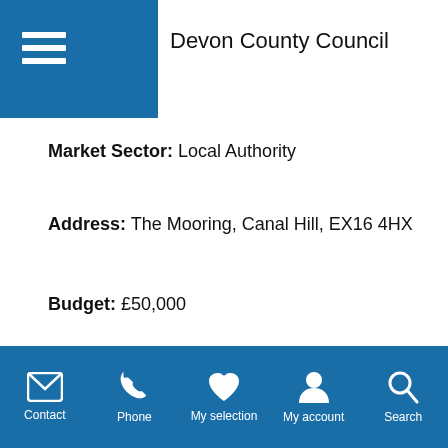Devon County Council
Market Sector: Local Authority
Address: The Mooring, Canal Hill, EX16 4HX
Budget: £50,000
Age Range: All ages and abilities
To view the full case study please click here.
Contact | Phone | My selection | My account | Search